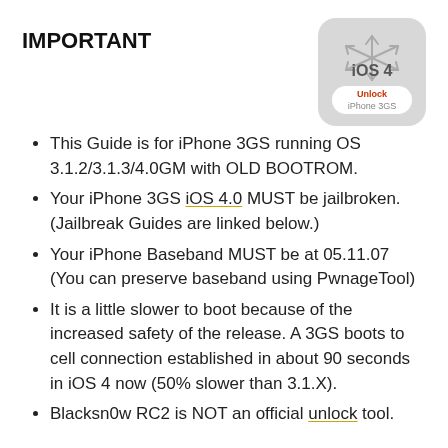IMPORTANT
[Figure (illustration): iOS 4 app icon style graphic with snowflake symbol, showing 'iOS 4' text and 'Unlock iPhone 3GS' button label in red]
This Guide is for iPhone 3GS running OS 3.1.2/3.1.3/4.0GM with OLD BOOTROM.
Your iPhone 3GS iOS 4.0 MUST be jailbroken. (Jailbreak Guides are linked below.)
Your iPhone Baseband MUST be at 05.11.07 (You can preserve baseband using PwnageTool)
It is a little slower to boot because of the increased safety of the release. A 3GS boots to cell connection established in about 90 seconds in iOS 4 now (50% slower than 3.1.X).
Blacksn0w RC2 is NOT an official unlock tool.